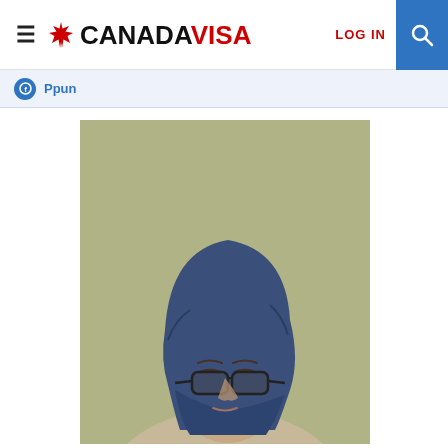≡ ❋ CANADAVISA  LOG IN 🔍
Ppun
[Figure (photo): A person wearing a blue hijab and dark-rimmed glasses, looking downward, photographed against an olive/khaki background.]